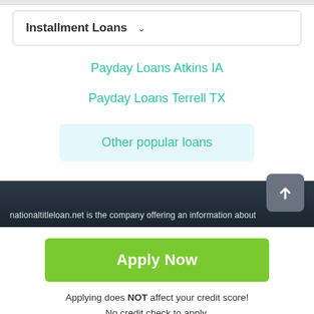Installment Loans
Payday Loans Atkins IA
Payday Loans Terrell TX
Other popular loans
nationaltitleloan.net is the company offering an information about
Apply Now
Applying does NOT affect your credit score! No credit check to apply.